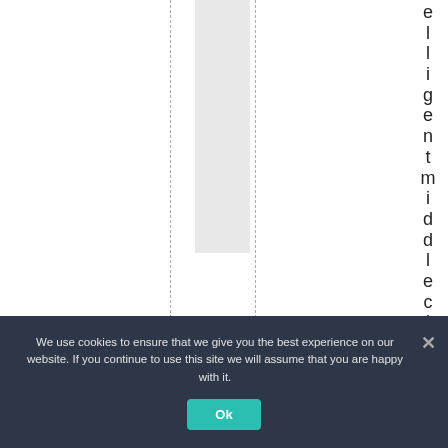[Figure (other): Document layout with dashed vertical guide lines, a gray vertical band in the center area, and vertical text reading 'elligentheindleclass' on the right side — appears to be part of a larger page/chart cropped at this view.]
We use cookies to ensure that we give you the best experience on our website. If you continue to use this site we will assume that you are happy with it.
Ok